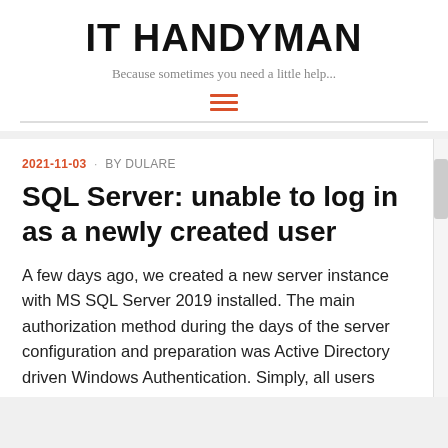IT HANDYMAN
Because sometimes you need a little help...
[Figure (other): Hamburger menu icon made of three horizontal orange/red bars]
2021-11-03 · BY DULARE
SQL Server: unable to log in as a newly created user
A few days ago, we created a new server instance with MS SQL Server 2019 installed. The main authorization method during the days of the server configuration and preparation was Active Directory driven Windows Authentication. Simply, all users belonging to the particular group in our